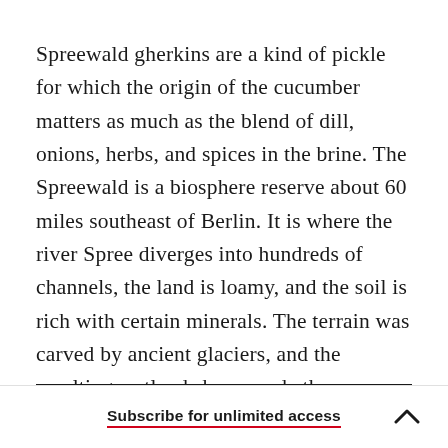Spreewald gherkins are a kind of pickle for which the origin of the cucumber matters as much as the blend of dill, onions, herbs, and spices in the brine. The Spreewald is a biosphere reserve about 60 miles southeast of Berlin. It is where the river Spree diverges into hundreds of channels, the land is loamy, and the soil is rich with certain minerals. The terrain was carved by ancient glaciers, and the resulting wetlands have made the Spreewald and the surrounding state of Brandenburg the “vegetable garden of Berlin.”
Subscribe for unlimited access